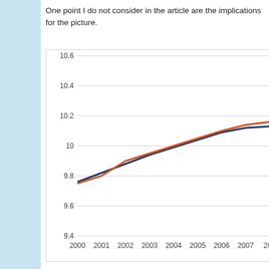One point I do not consider in the article are the implications for the picture.
[Figure (line-chart): ]